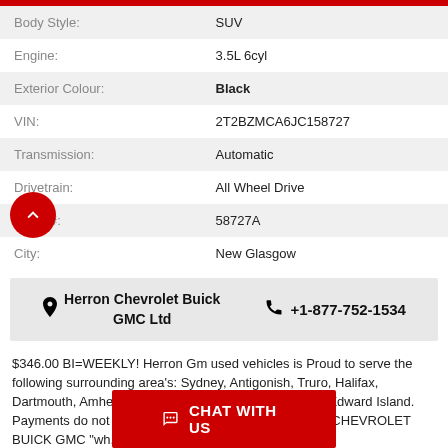| Field | Value |
| --- | --- |
| Body Style: | SUV |
| Engine: | 3.5L 6cyl |
| Exterior Colour: | Black |
| VIN: | 2T2BZMCA6JC158727 |
| Transmission: | Automatic |
| Drivetrain: | All Wheel Drive |
| Stock #: | 58727A |
| City: | New Glasgow |
Herron Chevrolet Buick GMC Ltd   +1-877-752-1534
$346.00 BI=WEEKLY! Herron Gm used vehicles is Proud to serve the following surrounding area's: Sydney, Antigonish, Truro, Halifax, Dartmouth, Amherst, Moncton, New Brunswick, Prince Edward Island. Payments do not include tax and fees. OAC. HERRON CHEVROLET BUICK GMC "wh.....Read More